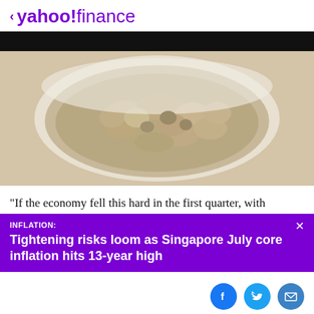< yahoo!finance
[Figure (photo): Bowl of oatmeal/porridge viewed from above, in a white bowl on a white surface]
"If the economy fell this hard in the first quarter, with less than a month of pandemic lockdown for most states
INFLATION:
Tightening risks loom as Singapore July core inflation hits 13-year high
[Figure (other): Social share buttons: Facebook, Twitter, Email]